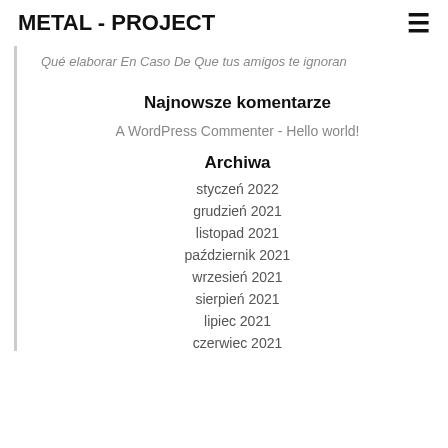METAL - PROJECT
Qué elaborar En Caso De Que tus amigos te ignoran
Najnowsze komentarze
A WordPress Commenter - Hello world!
Archiwa
styczeń 2022
grudzień 2021
listopad 2021
październik 2021
wrzesień 2021
sierpień 2021
lipiec 2021
czerwiec 2021